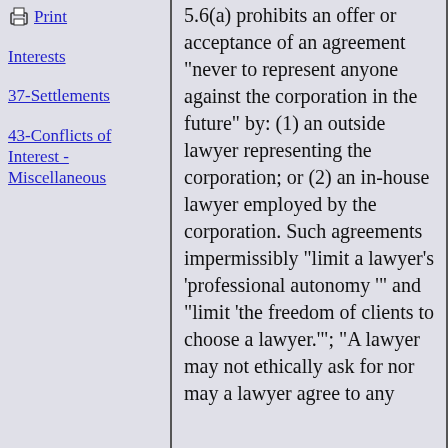Print
Interests
37-Settlements
43-Conflicts of Interest - Miscellaneous
5.6(a) prohibits an offer or acceptance of an agreement "never to represent anyone against the corporation in the future" by: (1) an outside lawyer representing the corporation; or (2) an in-house lawyer employed by the corporation. Such agreements impermissibly "limit a lawyer's 'professional autonomy '" and "limit 'the freedom of clients to choose a lawyer.'"; "A lawyer may not ethically ask for nor may a lawyer agree to any